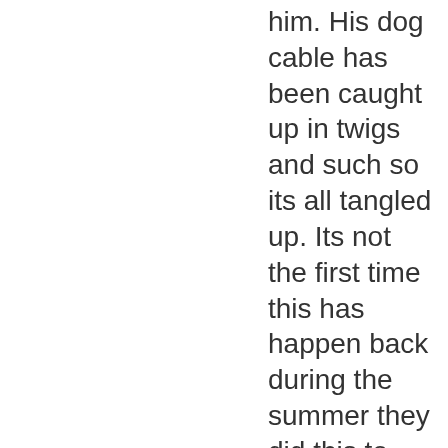him. His dog cable has been caught up in twigs and such so its all tangled up. Its not the first time this has happen back during the summer they did this to him. I think someone should seriously check into this. He was in the pouring down rain today, and its now getting